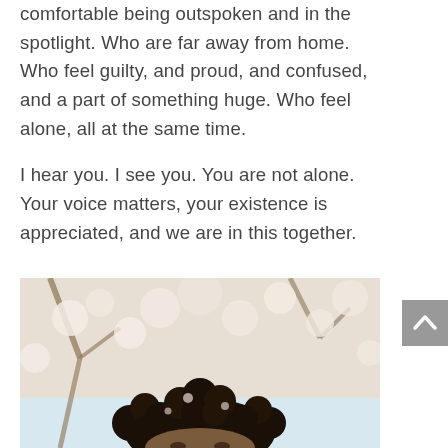comfortable being outspoken and in the spotlight. Who are far away from home. Who feel guilty, and proud, and confused, and a part of something huge. Who feel alone, all at the same time.

I hear you. I see you. You are not alone. Your voice matters, your existence is appreciated, and we are in this together.
[Figure (photo): Partial photo of a person with curly dark hair, outdoors with blossoming trees in the background. Only the top portion of the face and hair visible at the bottom of the page.]